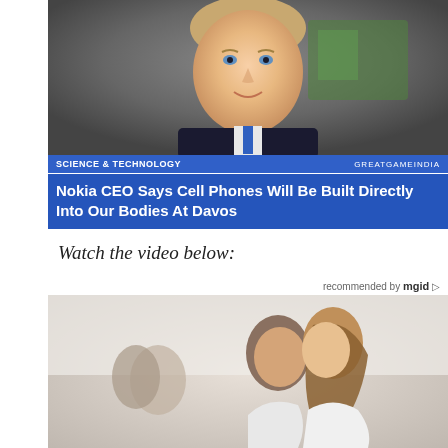[Figure (photo): Close-up photo of a middle-aged man with light hair and blue eyes, wearing a dark suit and white shirt, smiling slightly. Background is blurred.]
SCIENCE & TECHNOLOGY
GREATGAMEINDIA
Nokia CEO Says Cell Phones Will Be Built Directly Into Our Bodies At Davos
Watch the video below:
recommended by mgid
[Figure (photo): Photo of a couple kissing/embracing. A man is kissing a woman on the neck. In the background, another couple can be seen embracing. Indoor setting with white walls.]